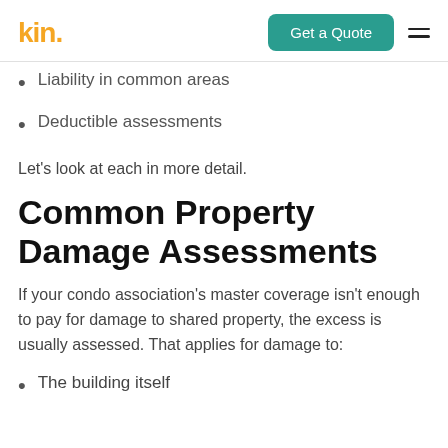kin. | Get a Quote
Liability in common areas
Deductible assessments
Let's look at each in more detail.
Common Property Damage Assessments
If your condo association's master coverage isn't enough to pay for damage to shared property, the excess is usually assessed. That applies for damage to:
The building itself